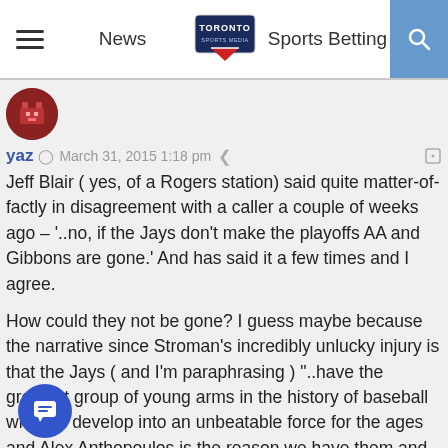News | Toronto Sports Media | Sports Betting
[Figure (screenshot): Toronto Sports Media logo in header]
yaz  March 31, 2015 1:18 pm
Jeff Blair ( yes, of a Rogers station) said quite matter-of-factly in disagreement with a caller a couple of weeks ago – '..no, if the Jays don't make the playoffs AA and Gibbons are gone.' And has said it a few times and I agree.

How could they not be gone? I guess maybe because the narrative since Stroman's incredibly unlucky injury is that the Jays ( and I'm paraphrasing ) "..have the greatest group of young arms in the history of baseball who will develop into an unbeatable force for the ages and Alex Anthopoulos is the reason we have them and Gibby is the best guy in the world to manage the young arms."

Me? Jays will not make the playoffs and Jays will, and should, fire AA, Gibby and the new Prez will hire his own guys.